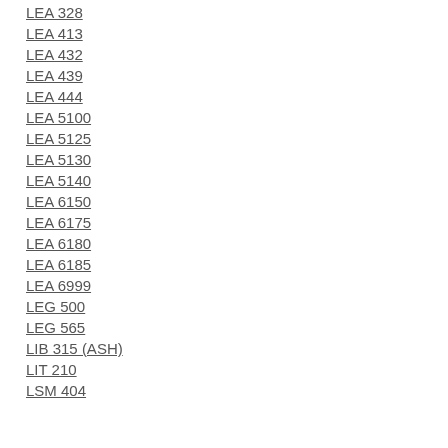LEA 328
LEA 413
LEA 432
LEA 439
LEA 444
LEA 5100
LEA 5125
LEA 5130
LEA 5140
LEA 6150
LEA 6175
LEA 6180
LEA 6185
LEA 6999
LEG 500
LEG 565
LIB 315 (ASH)
LIT 210
LSM 404